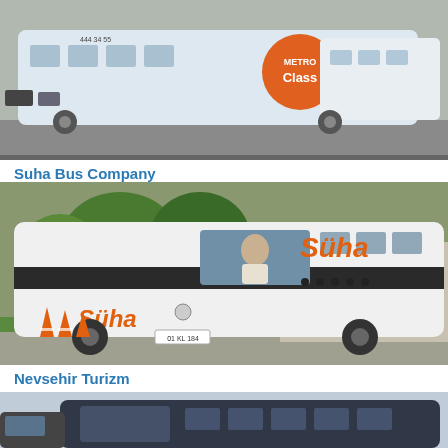[Figure (photo): White Metro intercity coach bus parked at a bus terminal, side and rear view. Metro logo and 'Class' branding visible on the side. Phone number 444 34 55 on the bus.]
Suha Bus Company
[Figure (photo): White Süha intercity coach bus at a terminal, front and side view showing the orange 'Süha' branding on the side and windshield. Trees and orange traffic cones visible in background.]
Nevsehir Turizm
[Figure (photo): Dark-colored intercity coach bus partially visible, front view at a terminal or parking area with blue sky background.]